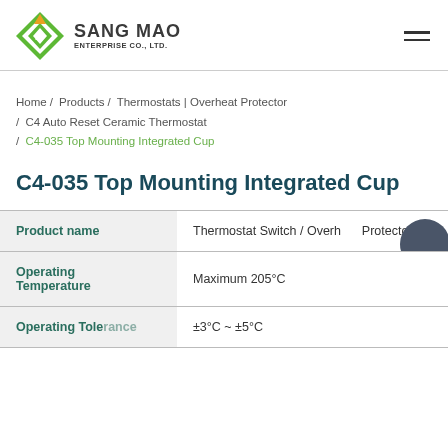SANG MAO ENTERPRISE CO., LTD.
Home / Products / Thermostats | Overheat Protector / C4 Auto Reset Ceramic Thermostat / C4-035 Top Mounting Integrated Cup
C4-035 Top Mounting Integrated Cup
|  |  |
| --- | --- |
| Product name | Thermostat Switch / Overheat Protector |
| Operating Temperature | Maximum 205°C |
| Operating Tolerance | ±3°C ~ ±5°C |